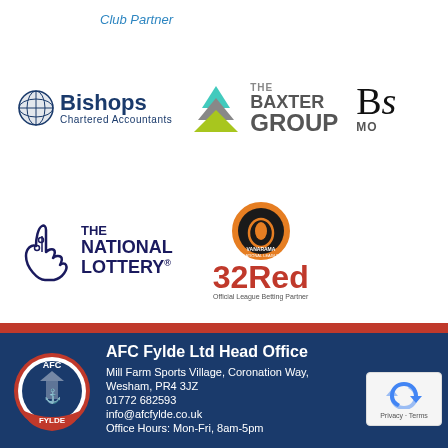Club Partner
[Figure (logo): Bishops Chartered Accountants logo with crosshatch globe icon]
[Figure (logo): The Baxter Group logo with pyramid triangle icon]
[Figure (logo): Partial logo starting with Bs / MO (cropped)]
[Figure (logo): The National Lottery logo with lucky hand icon]
[Figure (logo): Vanarama National League 32Red Official League Betting Partner logo]
[Figure (logo): AFC Fylde crest logo]
AFC Fylde Ltd Head Office
Mill Farm Sports Village, Coronation Way, Wesham, PR4 3JZ
01772 682593
info@afcfylde.co.uk
Office Hours: Mon-Fri, 8am-5pm